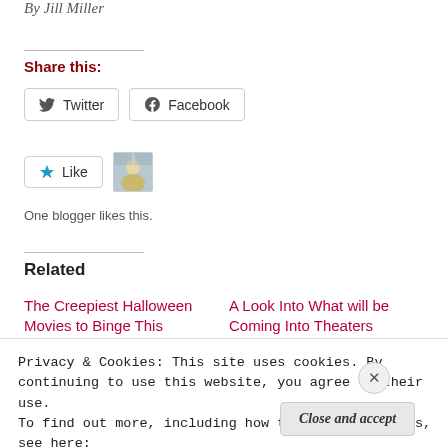By Jill Miller
Share this:
[Figure (other): Social share buttons: Twitter and Facebook]
[Figure (other): Like button with star icon and blogger avatar thumbnail]
One blogger likes this.
Related
The Creepiest Halloween Movies to Binge This
A Look Into What will be Coming Into Theaters
Privacy & Cookies: This site uses cookies. By continuing to use this website, you agree to their use.
To find out more, including how to control cookies, see here:
Cookie Policy
Close and accept